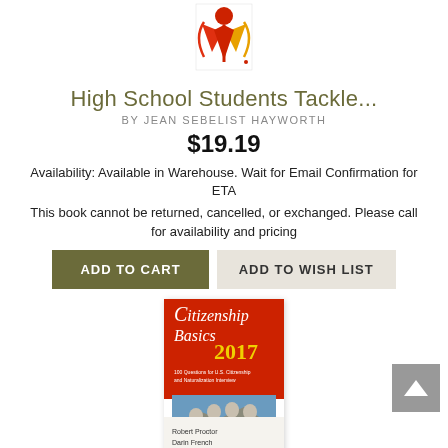[Figure (logo): Red and orange stylized figure/person logo on white background]
High School Students Tackle...
BY JEAN SEBELIST HAYWORTH
$19.19
Availability: Available in Warehouse. Wait for Email Confirmation for ETA
This book cannot be returned, cancelled, or exchanged. Please call for availability and pricing
ADD TO CART | ADD TO WISH LIST
[Figure (photo): Book cover of Citizenship Basics 2017 showing Mount Rushmore, authors Robert Proctor and Darin French]
Citizenship Basics 2017: 100...